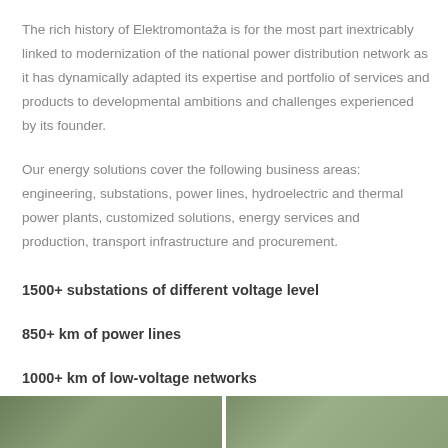The rich history of Elektromontaža is for the most part inextricably linked to modernization of the national power distribution network as it has dynamically adapted its expertise and portfolio of services and products to developmental ambitions and challenges experienced by its founder.
Our energy solutions cover the following business areas: engineering, substations, power lines, hydroelectric and thermal power plants, customized solutions, energy services and production, transport infrastructure and procurement.
1500+ substations of different voltage level
850+ km of power lines
1000+ km of low-voltage networks
[Figure (photo): Two photos side by side at the bottom of the page showing infrastructure or energy-related imagery]